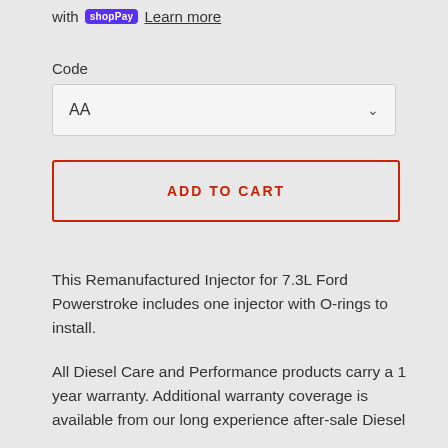with shop Pay Learn more
Code
AA
ADD TO CART
This Remanufactured Injector for 7.3L Ford Powerstroke includes one injector with O-rings to install.
All Diesel Care and Performance products carry a 1 year warranty. Additional warranty coverage is available from our long experience after-sale Diesel